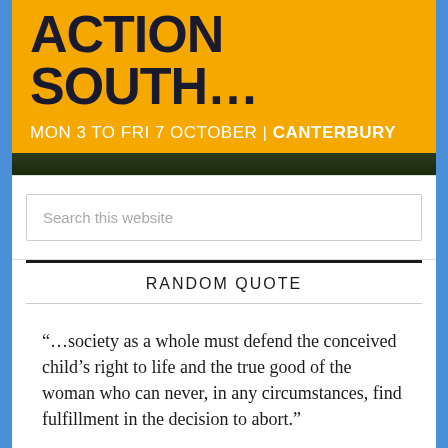[Figure (infographic): Yellow banner with dark bold text reading 'ACTION South' (partially visible) and white text 'MON 3 TO FRI 7 OCTOBER | CANTERBURY' with a dark strip at the bottom]
Search this website
RANDOM QUOTE
“…society as a whole must defend the conceived child’s right to life and the true good of the woman who can never, in any circumstances, find fulfillment in the decision to abort.”